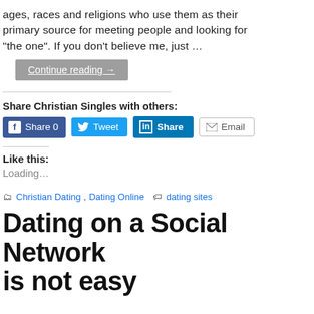ages, races and religions who use them as their primary source for meeting people and looking for “the one”. If you don’t believe me, just …
Continue reading →
Share Christian Singles with others:
[Figure (screenshot): Social share buttons: Facebook Share 0, Twitter Tweet, LinkedIn Share, Email]
Like this:
Loading…
Christian Dating, Dating Online  dating sites
Dating on a Social Network is not easy